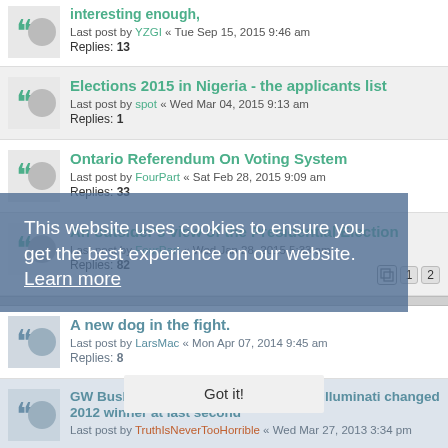interesting enough, Last post by YZGI « Tue Sep 15, 2015 9:46 am Replies: 13
Elections 2015 in Nigeria - the applicants list Last post by spot « Wed Mar 04, 2015 9:13 am Replies: 1
Ontario Referendum On Voting System Last post by FourPart « Sat Feb 28, 2015 9:09 am Replies: 33
An outsider's view of the Presidential Election Last post by FourPart « Wed Jan 28, 2015 5:33 am Replies: 82
A new dog in the fight. Last post by LarsMac « Mon Apr 07, 2014 9:45 am Replies: 8
GW Bush hiding Romney crowds: why illuminati changed 2012 winner at last second Last post by TruthIsNeverTooHorrible « Wed Mar 27, 2013 3:34 pm
Was The Media 'In The Tank' For Obama In 2012? Last post by Ahso! « Mon Feb 25, 2013 9:29 am
This website uses cookies to ensure you get the best experience on our website. Learn more
Got it!